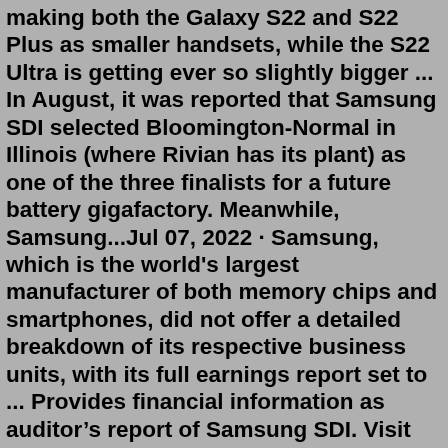making both the Galaxy S22 and S22 Plus as smaller handsets, while the S22 Ultra is getting ever so slightly bigger ... In August, it was reported that Samsung SDI selected Bloomington-Normal in Illinois (where Rivian has its plant) as one of the three finalists for a future battery gigafactory. Meanwhile, Samsung...Jul 07, 2022 · Samsung, which is the world's largest manufacturer of both memory chips and smartphones, did not offer a detailed breakdown of its respective business units, with its full earnings report set to ... Provides financial information as auditor’s report of Samsung SDI. Visit and get more detail information. ... Audit Reports PDF Viewer Download. Audit Reports - Year, Semi Annual, Annual; Year Semi Annual Annual; Year 2021 Semi Annual - Annual Download: Year 2020 Semi ...2021-2022 Sustainability Report (Reporting period 2021.1.1~2021.12.31) Samsung Electro-Mechanics' 2021-2022 Sustainability Report contains the CEO's message on the direction of our management strategy, as well as describes our sustainability strategy and